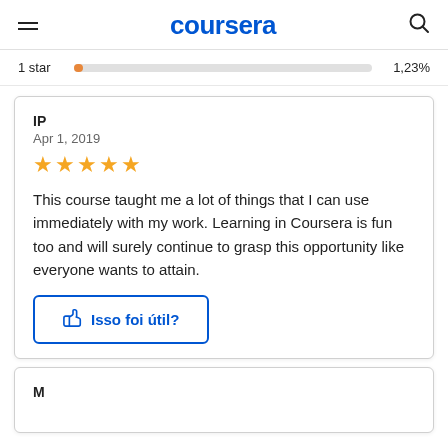coursera
1 star   1,23%
IP
Apr 1, 2019
★★★★★
This course taught me a lot of things that I can use immediately with my work. Learning in Coursera is fun too and will surely continue to grasp this opportunity like everyone wants to attain.
Isso foi útil?
M